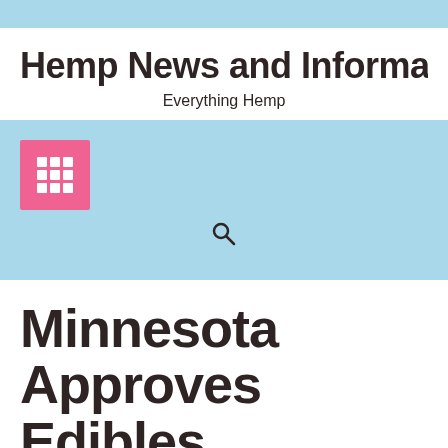Hemp News and Informa
Everything Hemp
[Figure (other): Navigation bar with pink grid/menu icon and search icon on light blue background]
Minnesota Approves Edibles For Medical